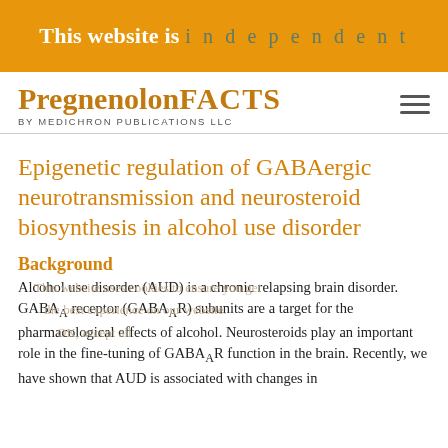This website is independent
PregnenolonFACTS BY MEDICHRON PUBLICATIONS LLC
Epigenetic regulation of GABAergic neurotransmission and neurosteroid biosynthesis in alcohol use disorder
Background
Alcohol use disorder (AUD) is a chronic relapsing brain disorder. GABAA receptor (GABAAR) subunits are a target for the pharmacological effects of alcohol. Neurosteroids play an important role in the fine-tuning of GABAAR function in the brain. Recently, we have shown that AUD is associated with changes in